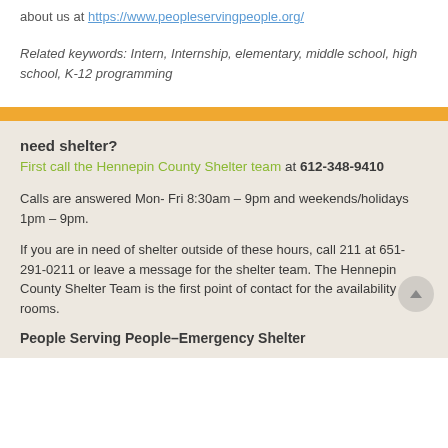about us at https://www.peopleservingpeople.org/
Related keywords: Intern, Internship, elementary, middle school, high school, K-12 programming
need shelter?
First call the Hennepin County Shelter team at 612-348-9410
Calls are answered Mon- Fri 8:30am – 9pm and weekends/holidays 1pm – 9pm.
If you are in need of shelter outside of these hours, call 211 at 651-291-0211 or leave a message for the shelter team. The Hennepin County Shelter Team is the first point of contact for the availability of rooms.
People Serving People–Emergency Shelter